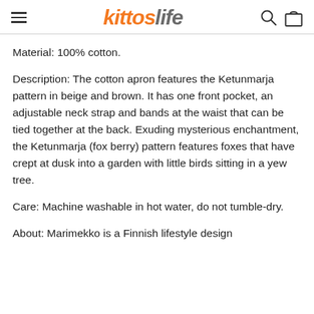kitroslife
Material: 100% cotton.
Description: The cotton apron features the Ketunmarja pattern in beige and brown. It has one front pocket, an adjustable neck strap and bands at the waist that can be tied together at the back. Exuding mysterious enchantment, the Ketunmarja (fox berry) pattern features foxes that have crept at dusk into a garden with little birds sitting in a yew tree.
Care: Machine washable in hot water, do not tumble-dry.
About: Marimekko is a Finnish lifestyle design